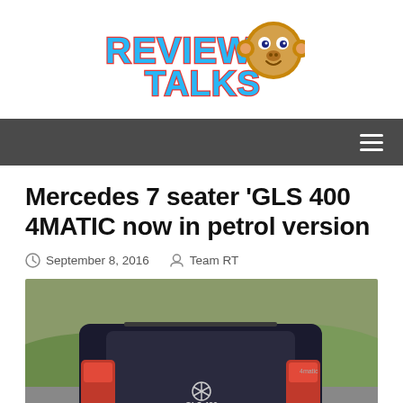[Figure (logo): ReviewTalks logo with cartoon monkey face character and colorful text]
Navigation bar with hamburger menu icon
Mercedes 7 seater ‘GLS 400 4MATIC now in petrol version
September 8, 2016   Team RT
[Figure (photo): Rear view of a dark blue/black Mercedes GLS 400 SUV driving on a road with green landscape in background]